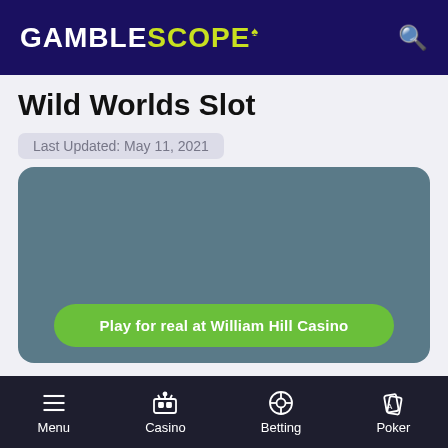GAMBLESCOPE
Wild Worlds Slot
Last Updated: May 11, 2021
[Figure (screenshot): Dark teal/slate colored game preview area placeholder for Wild Worlds Slot]
Play for real at William Hill Casino
Menu Casino Betting Poker